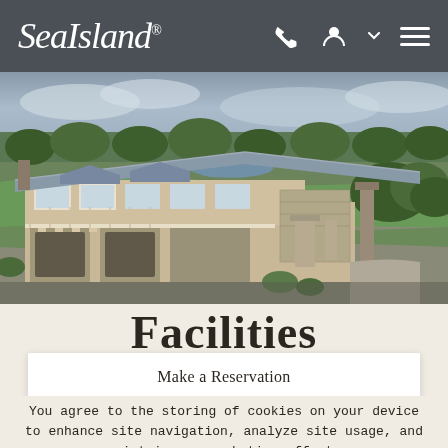Sea Island
[Figure (photo): Aerial view of Sea Island resort clubhouse building with grey metal roof, white trim, surrounded by golf course fairways, trees, and water features under a cloudy sky.]
Facilities
Make a Reservation
You agree to the storing of cookies on your device to enhance site navigation, analyze site usage, and assist in our marketing efforts.
I ACCEPT →